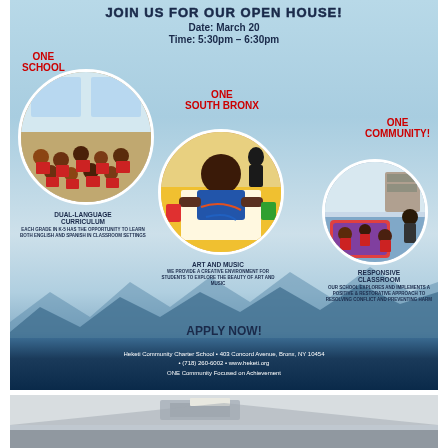JOIN US FOR OUR OPEN HOUSE!
Date: March 20
Time: 5:30pm - 6:30pm
ONE SCHOOL
ONE SOUTH BRONX
ONE COMMUNITY!
[Figure (photo): Circular photo of students sitting in a classroom with teacher in red uniforms]
[Figure (photo): Circular photo of a student working at a table on art/craft activity]
[Figure (photo): Circular photo of students sitting on a colorful rug in a classroom]
DUAL-LANGUAGE CURRICULUM
EACH GRADE IN K-5 HAS THE OPPORTUNITY TO LEARN BOTH ENGLISH AND SPANISH IN CLASSROOM SETTINGS
ART AND MUSIC
WE PROVIDE A CREATIVE ENVIRONMENT FOR STUDENTS TO EXPLORE THE BEAUTY OF ART AND MUSIC
RESPONSIVE CLASSROOM
OUR SCHOOL EXPLORES AND IMPLEMENTS A POSITIVE & RESTORATIVE APPROACH TO RESOLVING CONFLICT AND PREVENTING HARM
APPLY NOW!
ACCEPTING K-5TH GRADE STUDENTS FOR FALL 2019
Heketi Community Charter School • 403 Concord Avenue, Bronx, NY 10454 • (718) 260-6002 • www.heketi.org
ONE Community Focused on Achievement